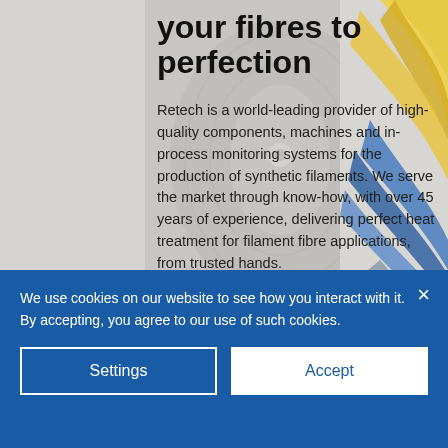[Figure (photo): Background industrial photo showing synthetic filament spools/bobbins in gray tones, with decorative yellow and blue curved ribbon shapes on the right side]
your fibres to perfection
Retech is a world-leading provider of high-quality components, machines and in-process monitoring systems for the production of synthetic filaments. We serve the market through know-how, with over 45 years of experience, delivering perfect heat treatment for filament fibre applications, from trusted hands.
With a wide portfolio of innovative
We use cookies on our website to see how you interact with it. By accepting, you agree to our use of such cookies.
Settings
Accept